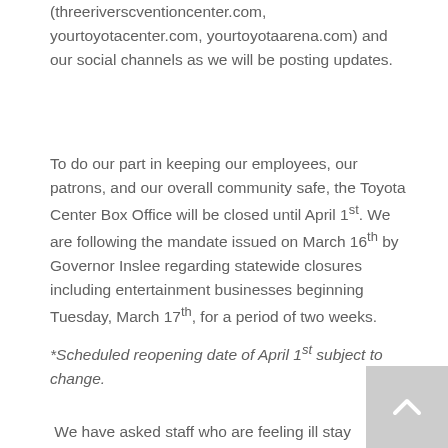(threeriverscventioncenter.com, yourtoyotacenter.com, yourtoyotaarena.com) and our social channels as we will be posting updates.
To do our part in keeping our employees, our patrons, and our overall community safe, the Toyota Center Box Office will be closed until April 1st. We are following the mandate issued on March 16th by Governor Inslee regarding statewide closures including entertainment businesses beginning Tuesday, March 17th, for a period of two weeks.
*Scheduled reopening date of April 1st subject to change.
We have asked staff who are feeling ill stay home and ask that clients, partners, and guests who need to contact us do so by phone or